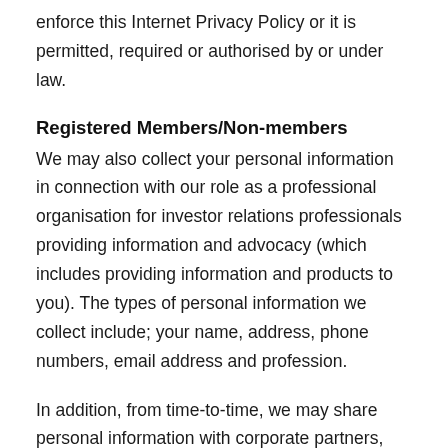enforce this Internet Privacy Policy or it is permitted, required or authorised by or under law.
Registered Members/Non-members
We may also collect your personal information in connection with our role as a professional organisation for investor relations professionals providing information and advocacy (which includes providing information and products to you). The types of personal information we collect include; your name, address, phone numbers, email address and profession.
In addition, from time-to-time, we may share personal information with corporate partners, joint venture partners or other third parties to promote through direct mail or email a service or product that we consider to be of